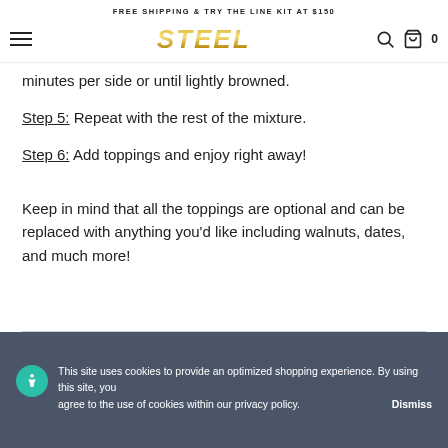FREE SHIPPING & TRY THE LINE KIT AT $150
minutes per side or until lightly browned.
Step 5: Repeat with the rest of the mixture.
Step 6: Add toppings and enjoy right away!
Keep in mind that all the toppings are optional and can be replaced with anything you'd like including walnuts, dates, and much more!
This site uses cookies to provide an optimized shopping experience. By using this site, you agree to the use of cookies within our privacy policy. Dismiss